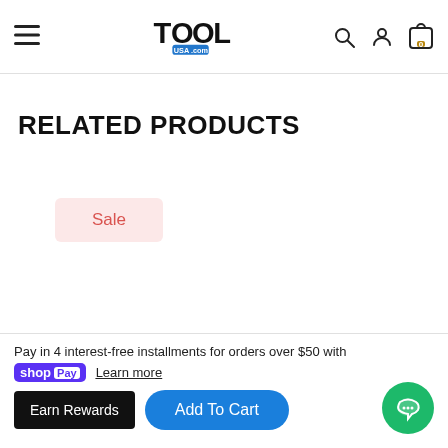ToolUSA.com navigation header with hamburger menu, logo, search, user, and cart icons
RELATED PRODUCTS
Sale
Pay in 4 interest-free installments for orders over $50 with
shop Pay Learn more
Earn Rewards   Add To Cart